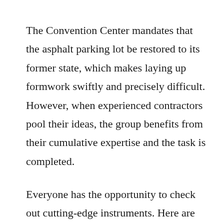The Convention Center mandates that the asphalt parking lot be restored to its former state, which makes laying up formwork swiftly and precisely difficult. However, when experienced contractors pool their ideas, the group benefits from their cumulative expertise and the task is completed.
Everyone has the opportunity to check out cutting-edge instruments. Here are some